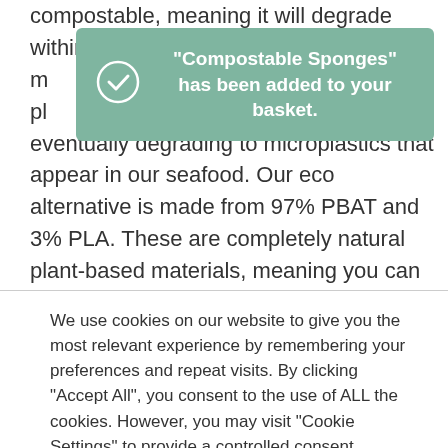compostable, meaning it will degrade within 6 m[onths in] pl[ace of] eventually degrading to microplastics that appear in our seafood. Our eco alternative is made from 97% PBAT and 3% PLA. These are completely natural plant-based materials, meaning you can feel safe knowing you are not wrapping your food with chemicals from plastic.
[Figure (screenshot): Toast notification with teal/green background showing a checkmark circle icon and the text: "Compostable Sponges" has been added to your basket.]
We use cookies on our website to give you the most relevant experience by remembering your preferences and repeat visits. By clicking "Accept All", you consent to the use of ALL the cookies. However, you may visit "Cookie Settings" to provide a controlled consent.